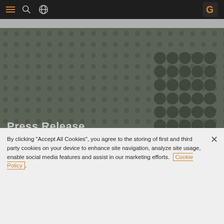Navigation bar with hamburger menu, search icon, globe icon, and G logo
[Figure (screenshot): Hero background with hexagonal dot pattern overlay in dark olive/green tone, with 'Press Release' label at bottom left]
By clicking "Accept All Cookies", you agree to the storing of first and third party cookies on your device to enhance site navigation, analyze site usage, enable social media features and assist in our marketing efforts. Cookie Policy
Cookies Settings
Reject All